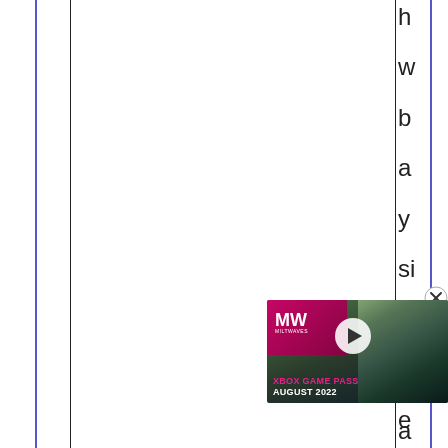[Figure (screenshot): A webpage screenshot showing vertical column layout guides (blue and black lines) with partial text visible on the right margin showing letters h, w, b, a, y, si, e, b, e. An ad overlay for 'Xbox Game Pass August 2022' from MilWaves (MW) is partially visible in the lower right portion, featuring soldiers in military gear and a video play button. A close (X) button circle appears near the ad.]